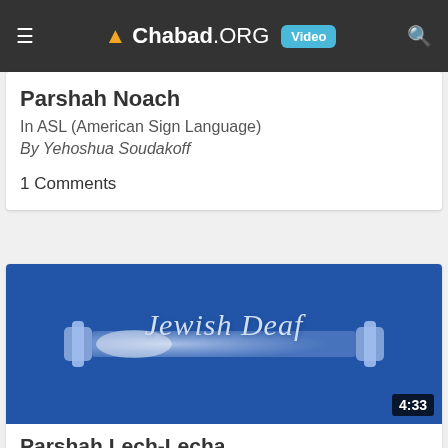Chabad.ORG Video
Parshah Noach
In ASL (American Sign Language)
By Yehoshua Soudakoff
1 Comments
[Figure (screenshot): Jewish Deaf video thumbnail showing a Torah scroll on a blue background with cursive 'Jewish Deaf' text and a 4:33 duration badge]
Parshah Lech-Lecha